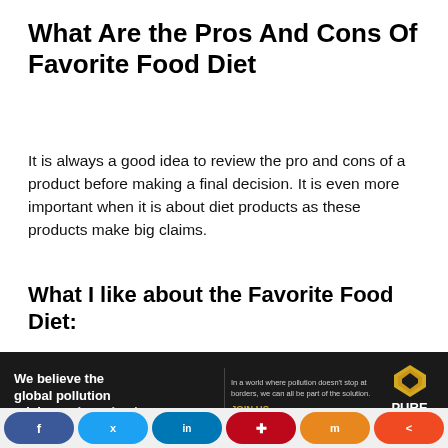What Are the Pros And Cons Of Favorite Food Diet
It is always a good idea to review the pro and cons of a product before making a final decision. It is even more important when it is about diet products as these products make big claims.
What I like about the Favorite Food Diet:
The Favorite Food Diet allows you to
[Figure (infographic): Pure Earth advertisement banner: dark background, text 'We believe the global pollution crisis can be solved.' with 'can be solved.' in green/yellow, middle column text 'In a world where pollution doesn't stop at borders, we can all be part of the solution.' with 'JOIN US.' in gold, and Pure Earth diamond logo on the right with PURE EARTH text.]
[Figure (infographic): Social media sharing buttons bar: Facebook (blue), Twitter (light blue), LinkedIn (dark blue), Pinterest (red), Mix (orange), Share (orange-red)]